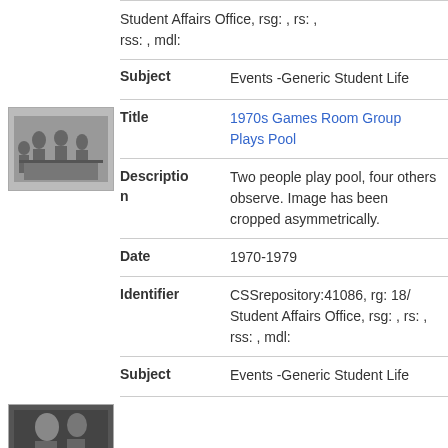Student Affairs Office, rsg: , rs: , rss: , mdl:
Subject: Events -Generic Student Life
[Figure (photo): Black and white photograph of a group of people playing pool in a games room, 1970s.]
Title: 1970s Games Room Group Plays Pool
Description: Two people play pool, four others observe. Image has been cropped asymmetrically.
Date: 1970-1979
Identifier: CSSrepository:41086, rg: 18/ Student Affairs Office, rsg: , rs: , rss: , mdl:
Subject: Events -Generic Student Life
[Figure (photo): Small thumbnail of another photograph at the bottom of the page.]